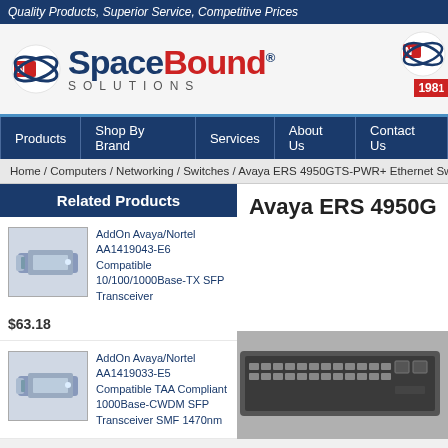Quality Products, Superior Service, Competitive Prices
[Figure (logo): SpaceBound Solutions logo with orbital graphic and '1981' badge]
Products | Shop By Brand | Services | About Us | Contact Us
Home / Computers / Networking / Switches / Avaya ERS 4950GTS-PWR+ Ethernet Switc...
Related Products
AddOn Avaya/Nortel AA1419043-E6 Compatible 10/100/1000Base-TX SFP Transceiver
$63.18
AddOn Avaya/Nortel AA1419033-E5 Compatible TAA Compliant 1000Base-CWDM SFP Transceiver SMF 1470nm
Avaya ERS 4950G...